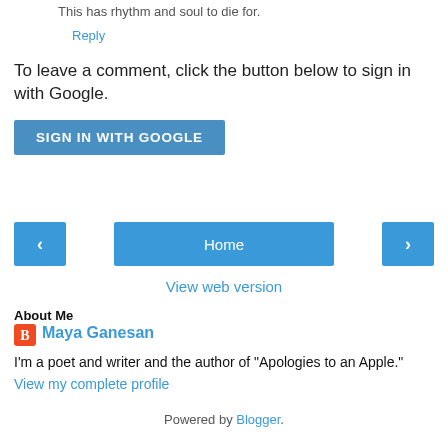This has rhythm and soul to die for.
Reply
To leave a comment, click the button below to sign in with Google.
SIGN IN WITH GOOGLE
[Figure (other): Navigation bar with left arrow button, Home button, and right arrow button]
View web version
About Me
Maya Ganesan
I'm a poet and writer and the author of "Apologies to an Apple."
View my complete profile
Powered by Blogger.